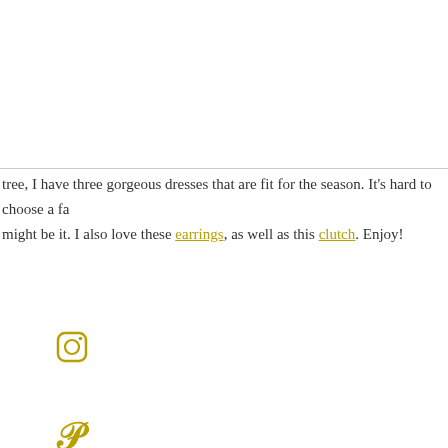tree, I have three gorgeous dresses that are fit for the season. It's hard to choose a fa… might be it. I also love these earrings, as well as this clutch. Enjoy!
[Figure (illustration): Instagram icon (camera) in gold/yellow color]
[Figure (illustration): Pinterest P icon in gold/yellow color]
0 COMMENTS
[Figure (illustration): Three social media icons in gold circles: Twitter bird, Facebook f, Pinterest P]
[Figure (illustration): RSS feed icon in gold/yellow color]